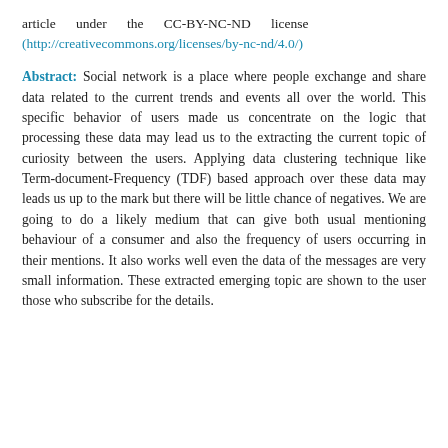article under the CC-BY-NC-ND license (http://creativecommons.org/licenses/by-nc-nd/4.0/)
Abstract: Social network is a place where people exchange and share data related to the current trends and events all over the world. This specific behavior of users made us concentrate on the logic that processing these data may lead us to the extracting the current topic of curiosity between the users. Applying data clustering technique like Term-document-Frequency (TDF) based approach over these data may leads us up to the mark but there will be little chance of negatives. We are going to do a likely medium that can give both usual mentioning behaviour of a consumer and also the frequency of users occurring in their mentions. It also works well even the data of the messages are very small information. These extracted emerging topic are shown to the user those who subscribe for the details.